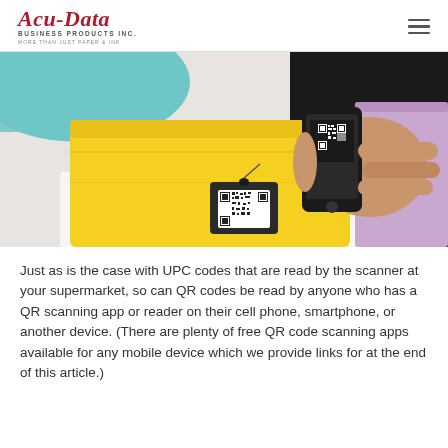Acu-Data Business Products Inc. — More Than Just Paper & Ink
[Figure (photo): A person in a business suit holding a smartphone to scan a QR code tag on a folded yellow polo shirt, with other colorful garments in the background.]
Just as is the case with UPC codes that are read by the scanner at your supermarket, so can QR codes be read by anyone who has a QR scanning app or reader on their cell phone, smartphone, or another device. (There are plenty of free QR code scanning apps available for any mobile device which we provide links for at the end of this article.)